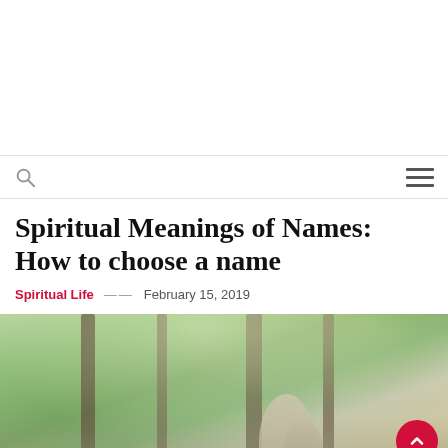Spiritual Meanings of Names: How to choose a name
Spiritual Life — February 15, 2019
[Figure (photo): Outdoor photo showing children or people among trees in a park or forest setting. A red scroll-to-top button with an upward chevron is overlaid in the bottom-right corner.]